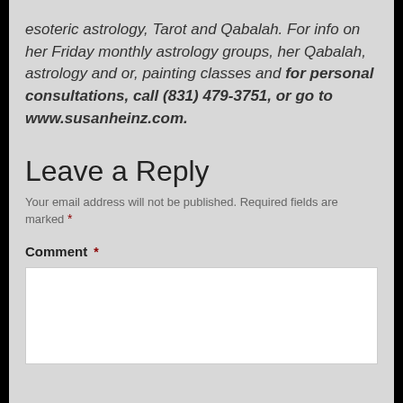esoteric astrology, Tarot and Qabalah. For info on her Friday monthly astrology groups, her Qabalah, astrology and or, painting classes and for personal consultations, call (831) 479-3751, or go to www.susanheinz.com.
Leave a Reply
Your email address will not be published. Required fields are marked *
Comment *